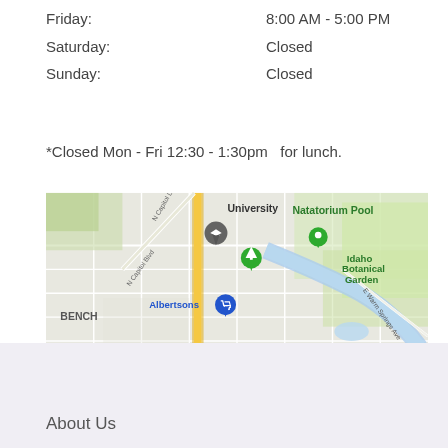Friday:   8:00 AM - 5:00 PM
Saturday:   Closed
Sunday:   Closed
*Closed Mon - Fri 12:30 - 1:30pm  for lunch.
[Figure (map): Google Maps screenshot showing area around N Capitol Blvd in Boise, Idaho, with markers for University, Natatorium Pool, Idaho Botanical Garden, and Albertsons. Shows BENCH neighborhood, W Boise Ave, E Warm Springs Ave.]
About Us